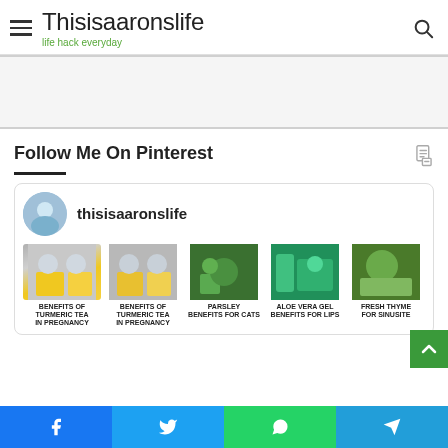Thisisaaronslife — life hack everyday
[Figure (screenshot): Advertisement / banner area placeholder]
Follow Me On Pinterest
[Figure (screenshot): Pinterest widget showing user thisisaaronslife with pins: Benefits of Turmeric Tea in Pregnancy (x2), Parsley Benefits for Cats, Aloe Vera Gel Benefits for Lips, Fresh Thyme for Sinusitis]
Social share bar: Facebook, Twitter, WhatsApp, Telegram